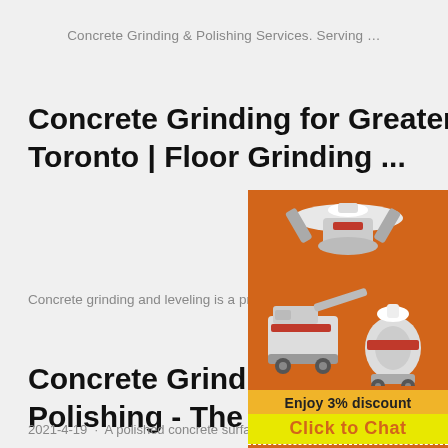Concrete Grinding & Polishing Services. Serving …
Concrete Grinding for Greater Toronto | Floor Grinding ...
Concrete grinding and leveling is a proce…
Concrete Grinding, Honing and Polishing - The Basics | For ...
2021-4-19 · A polished concrete surface…
[Figure (illustration): Advertisement panel with orange background showing industrial grinding/crushing machinery images, discount offer 'Enjoy 3% discount', 'Click to Chat' button, Enquiry link, and email limingjlmofen@sina.com]